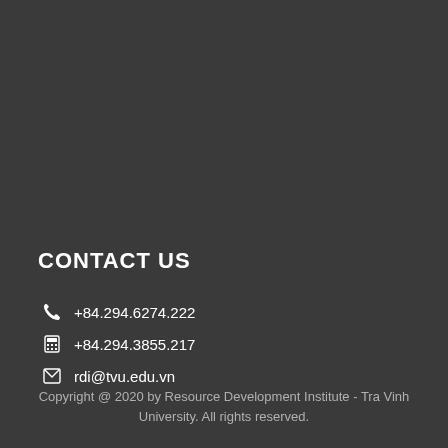CONTACT US
+84.294.6274.222
+84.294.3855.217
rdi@tvu.edu.vn
Copyright @ 2020 by Resource Development Institute - Tra Vinh University. All rights reserved.